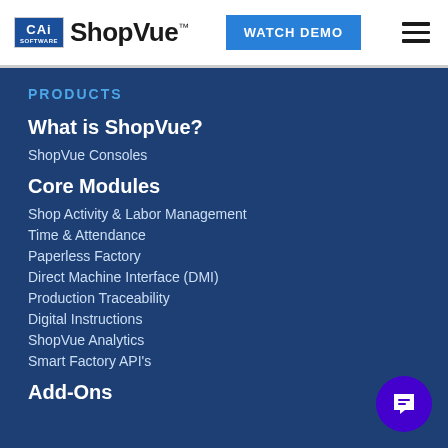CAi SOFTWARE ShopVue™ | WATCH DEMO
PRODUCTS
What is ShopVue?
ShopVue Consoles
Core Modules
Shop Activity & Labor Management
Time & Attendance
Paperless Factory
Direct Machine Interface (DMI)
Production Traceability
Digital Instructions
ShopVue Analytics
Smart Factory API's
Add-Ons